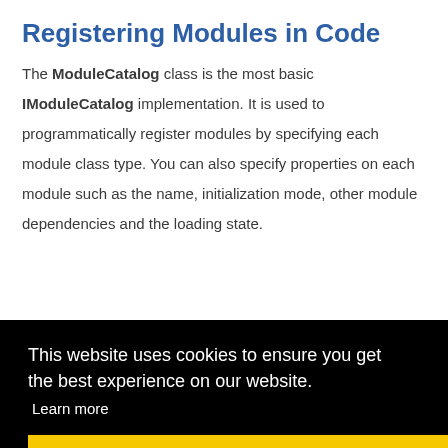Registering Modules in Code
The ModuleCatalog class is the most basic IModuleCatalog implementation. It is used to programmatically register modules by specifying each module class type. You can also specify properties on each module such as the name, initialization mode, other module dependencies and the loading state.
This website uses cookies to ensure you get the best experience on our website. Learn more
Got it!
modules added in code are referenced by the application